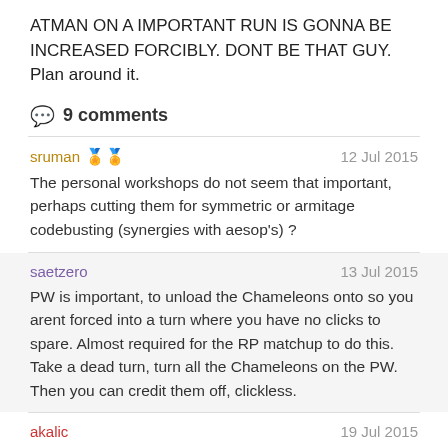ATMAN ON A IMPORTANT RUN IS GONNA BE INCREASED FORCIBLY. DONT BE THAT GUY. Plan around it.
💬 9 comments
sruman 🏅🏅  •  12 Jul 2015
The personal workshops do not seem that important, perhaps cutting them for symmetric or armitage codebusting (synergies with aesop's) ?
saetzero  •  13 Jul 2015
PW is important, to unload the Chameleons onto so you arent forced into a turn where you have no clicks to spare. Almost required for the RP matchup to do this. Take a dead turn, turn all the Chameleons on the PW. Then you can credit them off, clickless.
akalic  •  19 Jul 2015
This deck looks like a pile of garbage on paper, but when